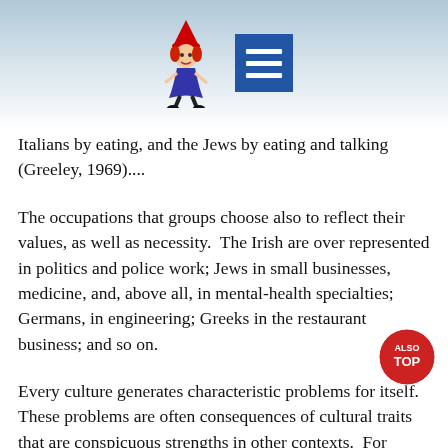[Figure (illustration): Website header area with a cartoon witch/jester character on left and a blue menu/hamburger icon on the right, set against a cloudy sky background.]
Italians by eating, and the Jews by eating and talking (Greeley, 1969)....
The occupations that groups choose also to reflect their values, as well as necessity.  The Irish are over represented in politics and police work; Jews in small businesses, medicine, and, above all, in mental-health specialties; Germans, in engineering; Greeks in the restaurant business; and so on.
Every culture generates characteristic problems for itself.  These problems are often consequences of cultural traits that are conspicuous strengths in other contexts.  For example, WASP optimism leads to confidence and flexibility in taking initiative, an obvious strength when there are opportunities to do so.  But the one-sided preference for cheerfulness also leads to the inability to cope with tragedy or to engage in mourning (McGill and Pearce, chapter 21).  Historically,